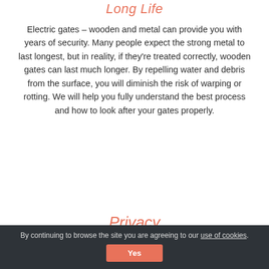Long Life
Electric gates – wooden and metal can provide you with years of security. Many people expect the strong metal to last longest, but in reality, if they're treated correctly, wooden gates can last much longer. By repelling water and debris from the surface, you will diminish the risk of warping or rotting. We will help you fully understand the best process and how to look after your gates properly.
Privacy
By continuing to browse the site you are agreeing to our use of cookies. Yes